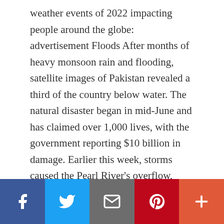weather events of 2022 impacting people around the globe: advertisement Floods After months of heavy monsoon rain and flooding, satellite images of Pakistan revealed a third of the country below water. The natural disaster began in mid-June and has claimed over 1,000 lives, with the government reporting $10 billion in damage. Earlier this week, storms caused the Pearl River's overflow, leading to flooding in Jackson, Mississippi. The crisis has left the city with a lack of drinkable water , exacerbating the already dire condition for the state's capital since it has been under a boil-water notice since late July. … [Read more…]